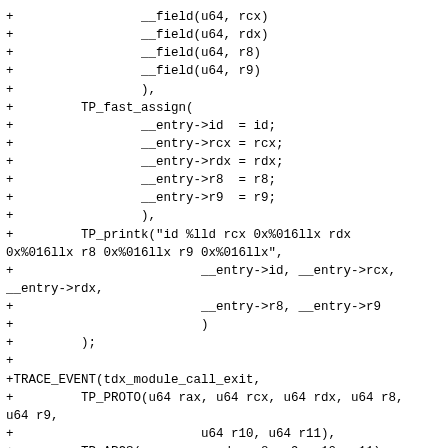+ 			__field(u64, rcx)
+ 			__field(u64, rdx)
+ 			__field(u64, r8)
+ 			__field(u64, r9)
+ 			),
+ 		TP_fast_assign(
+ 			__entry->id  = id;
+ 			__entry->rcx = rcx;
+ 			__entry->rdx = rdx;
+ 			__entry->r8  = r8;
+ 			__entry->r9  = r9;
+ 			),
+ 		TP_printk("id %lld rcx 0x%016llx rdx 0x%016llx r8 0x%016llx r9 0x%016llx",
+ 					__entry->id, __entry->rcx, __entry->rdx,
+ 					__entry->r8, __entry->r9
+ 					)
+ 		);
+
+TRACE_EVENT(tdx_module_call_exit,
+ 		TP_PROTO(u64 rax, u64 rcx, u64 rdx, u64 r8, u64 r9,
+ 					u64 r10, u64 r11),
+ 		TP_ARGS(rax, rcx, rdx, r8, r9, r10, r11),
+ 		TP_STRUCT__entry(
+ 			__field(u64, rax)
+ 			__field(u64, rcx)
+ 			__field(u64, rdx)
+ 			__field(u64, r8)